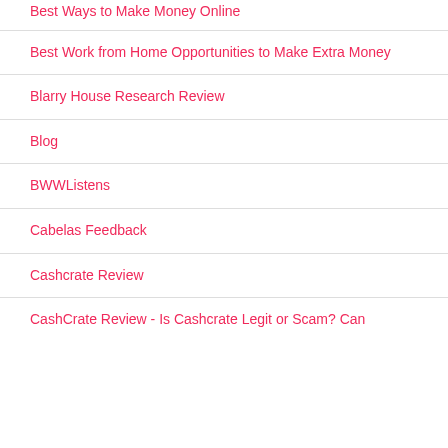Best Ways to Make Money Online
Best Work from Home Opportunities to Make Extra Money
Blarry House Research Review
Blog
BWWListens
Cabelas Feedback
Cashcrate Review
CashCrate Review - Is Cashcrate Legit or Scam? Can